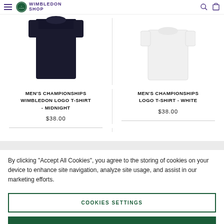Wimbledon Shop
[Figure (photo): Men's dark midnight t-shirt product image (cropped, top portion visible)]
MEN'S CHAMPIONSHIPS WIMBLEDON LOGO T-SHIRT - MIDNIGHT
$38.00
[Figure (photo): Men's white t-shirt product image (cropped, top portion visible)]
MEN'S CHAMPIONSHIPS LOGO T-SHIRT - WHITE
$38.00
By clicking "Accept All Cookies", you agree to the storing of cookies on your device to enhance site navigation, analyze site usage, and assist in our marketing efforts.
COOKIES SETTINGS
REJECT ALL